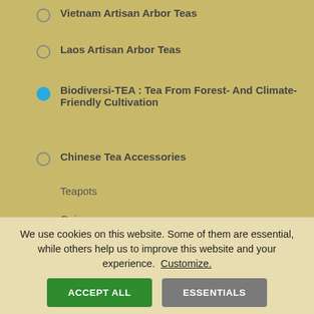Vietnam Artisan Arbor Teas
Laos Artisan Arbor Teas
Biodiversi-TEA : Tea From Forest- And Climate-Friendly Cultivation
Chinese Tea Accessories
Teapots
Gaiwan
Tea Boats / Tables
Tea Utensils
Tea Containers
Aroma Cup Sets
Tea Cups
Tea Ceramic Sets
We use cookies on this website. Some of them are essential, while others help us to improve this website and your experience. Customize.